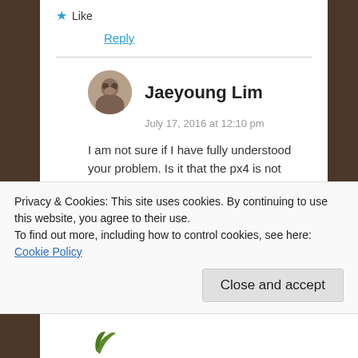★ Like
Reply
Jaeyoung Lim
July 17, 2016 at 12:10 pm
I am not sure if I have fully understood your problem. Is it that the px4 is not entering offboard mode? are you sending setpoints within the timeout? Setpoints have a 0.5 second timeout
Privacy & Cookies: This site uses cookies. By continuing to use this website, you agree to their use.
To find out more, including how to control cookies, see here: Cookie Policy
Close and accept